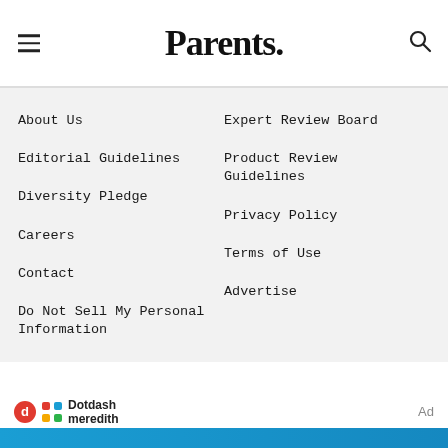Parents.
About Us
Expert Review Board
Editorial Guidelines
Product Review Guidelines
Diversity Pledge
Privacy Policy
Careers
Terms of Use
Contact
Advertise
Do Not Sell My Personal Information
[Figure (logo): Dotdash Meredith logo]
[Figure (photo): PediaSure advertisement banner: mix it up to HELP KIDS GROW, SAVE NOW]